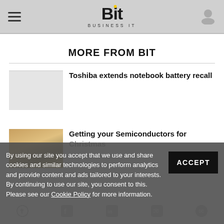Bit Business IT
MORE FROM BIT
Toshiba extends notebook battery recall
Getting your Semiconductors for Christmas
By using our site you accept that we use and share cookies and similar technologies to perform analytics and provide content and ads tailored to your interests. By continuing to use our site, you consent to this. Please see our Cookie Policy for more information.